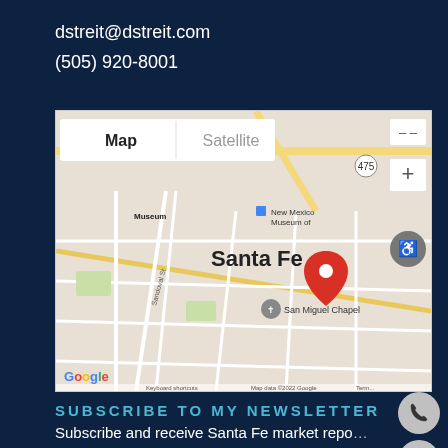dstreit@dstreit.com
(505) 920-8001
[Figure (map): Google Map showing Santa Fe, NM with a red location pin near New Mexico Museum of Art. Map includes Map/Satellite toggle, zoom controls, accessibility button, and shows San Miguel Chapel label. Attribution: Map data ©2022 Google]
SUBSCRIBE TO MY NEWSLETTER
Subscribe and receive Santa Fe market repo... upcoming events, and the latest real estate news.